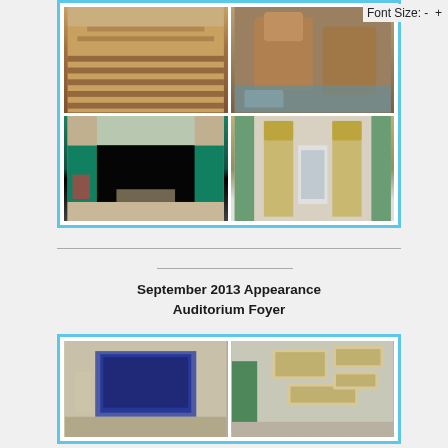[Figure (photo): Four photos of an auditorium interior showing rows of wooden seats, close-up of worn auditorium chairs, a stage with teal curtain, and decorative columns/wall panels]
Font Size: - +
September 2013 Appearance
Auditorium Foyer
[Figure (photo): Two photos of the auditorium foyer showing a bulletin board with a dark display and framed pictures on a wall near a green door]